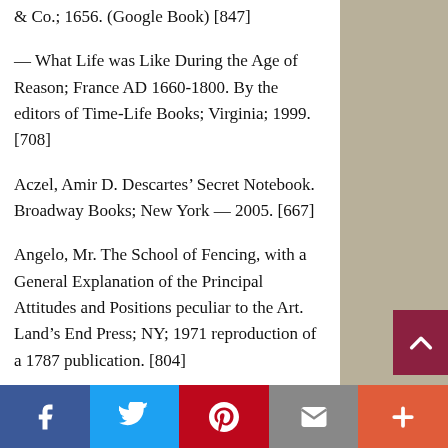& Co.; 1656. (Google Book) [847]
— What Life was Like During the Age of Reason; France AD 1660-1800. By the editors of Time-Life Books; Virginia; 1999. [708]
Aczel, Amir D. Descartes' Secret Notebook. Broadway Books; New York — 2005. [667]
Angelo, Mr. The School of Fencing, with a General Explanation of the Principal Attitudes and Positions peculiar to the Art. Land's End Press; NY; 1971 reproduction of a 1787 publication. [804]